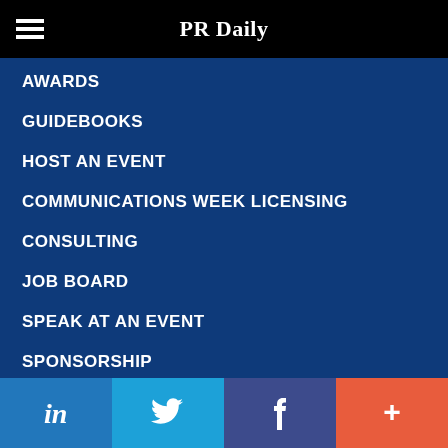PR Daily
AWARDS
GUIDEBOOKS
HOST AN EVENT
COMMUNICATIONS WEEK LICENSING
CONSULTING
JOB BOARD
SPEAK AT AN EVENT
SPONSORSHIP
WHITE PAPERS
[Figure (infographic): Social media share bar with LinkedIn, Twitter, Facebook, and a plus button]